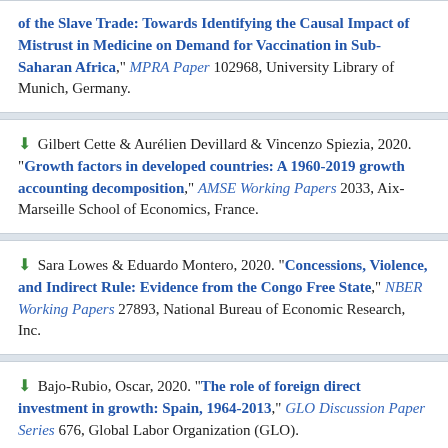of the Slave Trade: Towards Identifying the Causal Impact of Mistrust in Medicine on Demand for Vaccination in Sub-Saharan Africa," MPRA Paper 102968, University Library of Munich, Germany.
Gilbert Cette & Aurélien Devillard & Vincenzo Spiezia, 2020. "Growth factors in developed countries: A 1960-2019 growth accounting decomposition," AMSE Working Papers 2033, Aix-Marseille School of Economics, France.
Sara Lowes & Eduardo Montero, 2020. "Concessions, Violence, and Indirect Rule: Evidence from the Congo Free State," NBER Working Papers 27893, National Bureau of Economic Research, Inc.
Bajo-Rubio, Oscar, 2020. "The role of foreign direct investment in growth: Spain, 1964-2013," GLO Discussion Paper Series 676, Global Labor Organization (GLO).